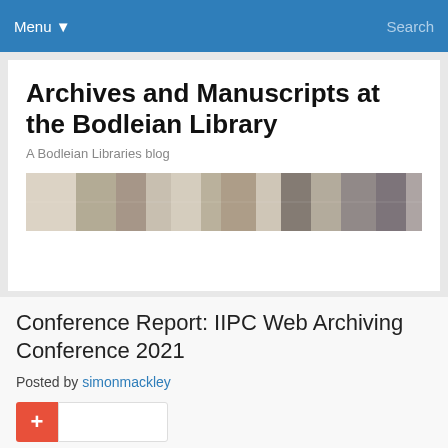Menu ▾   Search
Archives and Manuscripts at the Bodleian Library
A Bodleian Libraries blog
[Figure (photo): Horizontal banner showing collage of archival documents and photographs]
Conference Report: IIPC Web Archiving Conference 2021
Posted by simonmackley
[Figure (other): AddThis share widget with red plus button and share count box]
This year's International Internet Preservation Consortium Web Archiving Conference was held online from 15-16th June 2021,